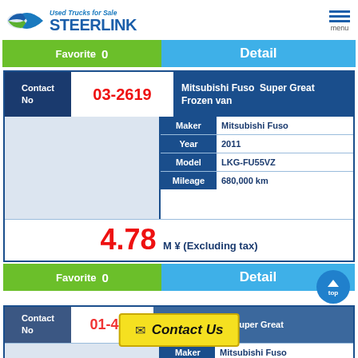[Figure (logo): Steerlink Used Trucks for Sale logo with tagline]
Favorite  0    Detail
| Field | Value |
| --- | --- |
| Maker | Mitsubishi Fuso |
| Year | 2011 |
| Model | LKG-FU55VZ |
| Mileage | 680,000 km |
Contact No  03-2619  Mitsubishi Fuso Super Great Frozen van
4.78 M ¥ (Excluding tax)
Favorite  0    Detail
Contact No  01-475...  Mitsubishi Fuso Super Great
Maker  Mitsubishi Fuso
Contact Us